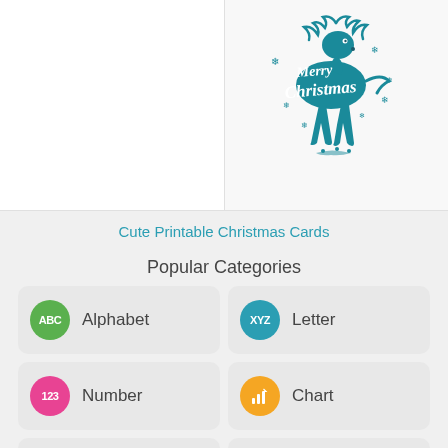[Figure (illustration): Merry Christmas reindeer illustration in teal/dark cyan color with snowflakes and stylized text]
Cute Printable Christmas Cards
Popular Categories
Alphabet
Letter
Number
Chart
Template
Coloring